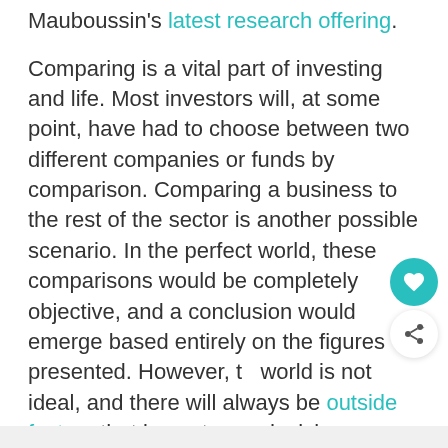Mauboussin's latest research offering.
Comparing is a vital part of investing and life. Most investors will, at some point, have had to choose between two different companies or funds by comparison. Comparing a business to the rest of the sector is another possible scenario. In the perfect world, these comparisons would be completely objective, and a conclusion would emerge based entirely on the figures presented. However, the world is not ideal, and there will always be outside factors that impact your decision.